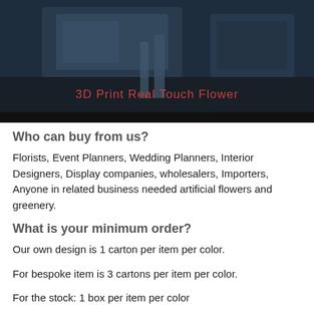[Figure (photo): 3D printed real touch flower machinery/equipment photo with text overlay '3D Print  Real Touch Flower' in red/pink]
Who can buy from us?
Florists, Event Planners, Wedding Planners, Interior Designers, Display companies, wholesalers, Importers, Anyone in related business needed artificial flowers and greenery.
What is your minimum order?
Our own design is 1 carton per item per color.
For bespoke item is 3 cartons per item per color.
For the stock: 1 box per item per color
Contact us with specific items, we will check for you.